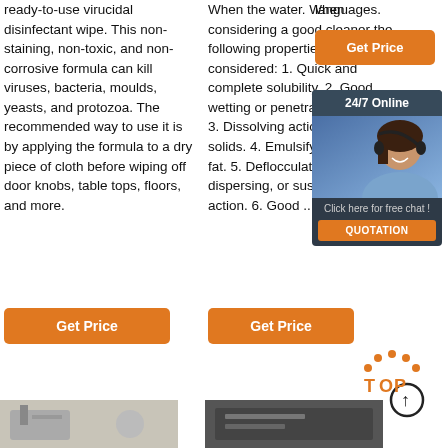ready-to-use virucidal disinfectant wipe. This non-staining, non-toxic, and non-corrosive formula can kill viruses, bacteria, moulds, yeasts, and protozoa. The recommended way to use it is by applying the formula to a dry piece of cloth before wiping off door knobs, table tops, floors, and more.
Get Price
When the water. When considering a good cleaner the following properties should be considered: 1. Quick and complete solubility. 2. Good wetting or penetrating action. 3. Dissolving action of food solids. 4. Emulsifying action on fat. 5. Deflocculating, dispersing, or suspending action. 6. Good ...
Get Price
languages.
Get Price
[Figure (infographic): 24/7 Online chat box with woman wearing headset, blue background, with 'Click here for free chat!' text and orange QUOTATION button]
[Figure (illustration): TOP scroll-to-top icon with orange dots arc above and circular arrow button]
[Figure (photo): Bottom left product/scene photo (partially visible)]
[Figure (photo): Bottom right product/scene photo (partially visible)]